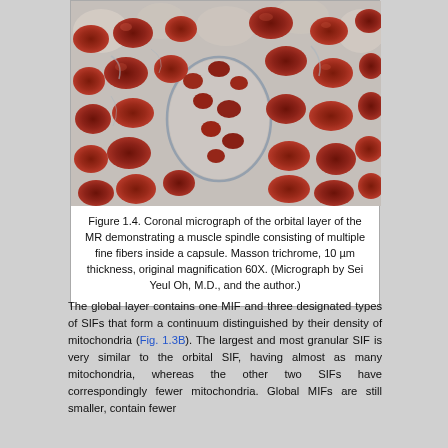[Figure (photo): Coronal micrograph of the orbital layer of the MR showing a muscle spindle with multiple fine fibers inside a capsule. Masson trichrome stain showing dark reddish-brown muscle fibers against a light bluish background. 10 µm thickness, original magnification 60X.]
Figure 1.4. Coronal micrograph of the orbital layer of the MR demonstrating a muscle spindle consisting of multiple fine fibers inside a capsule. Masson trichrome, 10 µm thickness, original magnification 60X. (Micrograph by Sei Yeul Oh, M.D., and the author.)
The global layer contains one MIF and three designated types of SIFs that form a continuum distinguished by their density of mitochondria (Fig. 1.3B). The largest and most granular SIF is very similar to the orbital SIF, having almost as many mitochondria, whereas the other two SIFs have correspondingly fewer mitochondria. Global MIFs are still smaller, contain fewer mitochondria and compared to the orbital MIFs. Non-vividly